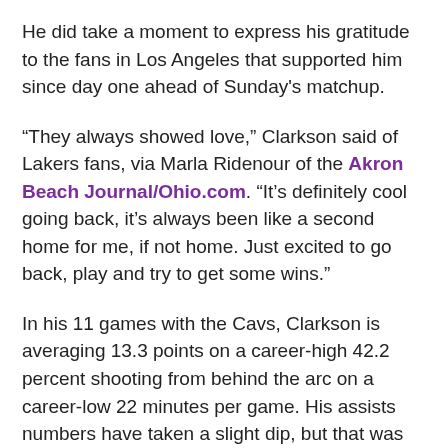He did take a moment to express his gratitude to the fans in Los Angeles that supported him since day one ahead of Sunday's matchup.
“They always showed love,” Clarkson said of Lakers fans, via Marla Ridenour of the Akron Beach Journal/Ohio.com. “It’s definitely cool going back, it’s always been like a second home for me, if not home. Just excited to go back, play and try to get some wins.”
In his 11 games with the Cavs, Clarkson is averaging 13.3 points on a career-high 42.2 percent shooting from behind the arc on a career-low 22 minutes per game. His assists numbers have taken a slight dip, but that was never a huge part of his game to begin with.